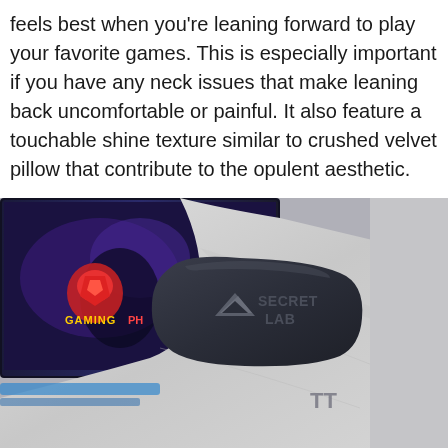feels best when you're leaning forward to play your favorite games. This is especially important if you have any neck issues that make leaning back uncomfortable or painful. It also feature a touchable shine texture similar to crushed velvet pillow that contribute to the opulent aesthetic.
[Figure (photo): A dark navy/charcoal Secretlab neck pillow with the Secretlab logo (triangle arrow and 'SECRET LAB' text) resting on a light grey textured gaming chair backrest, with a gaming monitor showing the GamingPH logo visible in the background.]